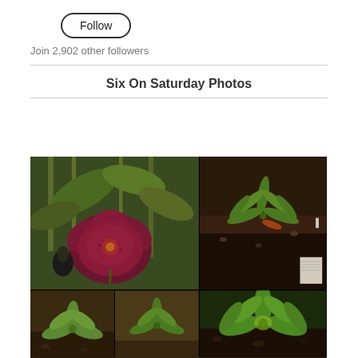Follow
Join 2,902 other followers
Six On Saturday Photos
[Figure (photo): A photo grid showing garden plants: a large purple/magenta hellebore flower in the main panel, green leafy plants growing in dark soil in the right panels, and smaller green rosette plants in the bottom panels.]